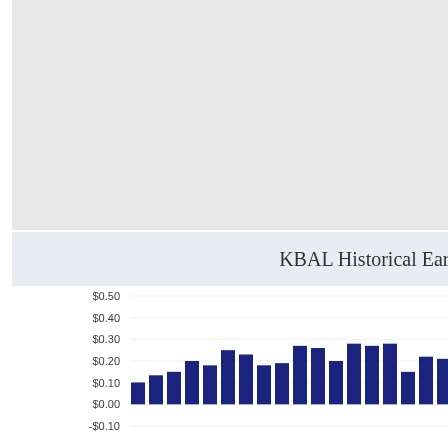[Figure (other): Grey placeholder rectangle at top of page]
[Figure (bar-chart): KBAL Historical Earnings]